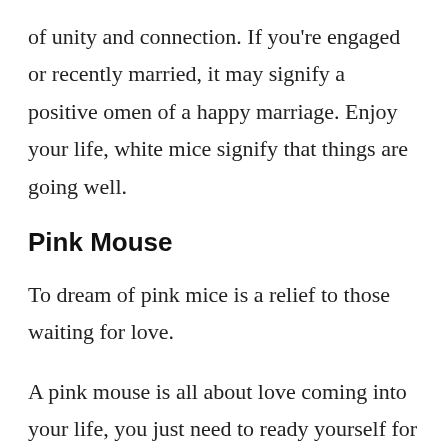of unity and connection. If you're engaged or recently married, it may signify a positive omen of a happy marriage. Enjoy your life, white mice signify that things are going well.
Pink Mouse
To dream of pink mice is a relief to those waiting for love.
A pink mouse is all about love coming into your life, you just need to ready yourself for it.